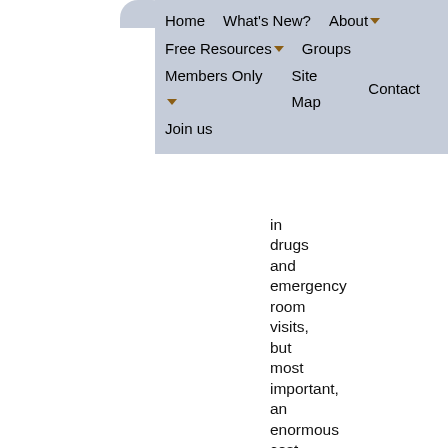Home  What's New?  About  Free Resources  Groups  Members Only  Site Map  Contact  Join us
in drugs and emergency room visits, but most important, an enormous cost in human suffering for our elders and their families. And, as a so-